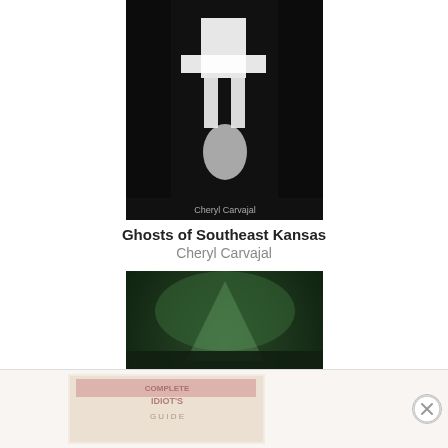[Figure (illustration): Book cover of Ghosts of Southeast Kansas — dark black background with white ghost-like architectural or figure silhouette, author name Cheryl Carvajal at bottom]
Ghosts of Southeast Kansas
Cheryl Carvajal
[Figure (illustration): Book cover of The Ghost Hunter's Field Guide — green eerie background with ghostly scene and large yellow road sign reading THE GHOST HUNTERS FIELD GUIDE, author Rich Newman at bottom]
The Ghost Hunter's Field Guide
Rich Newman
[Figure (illustration): Partially visible book cover at bottom edge, appears to be Complete Idiot's Guide series, pinkish/faded colors]
[Figure (other): Close button (X) circle in bottom right corner of ad strip]